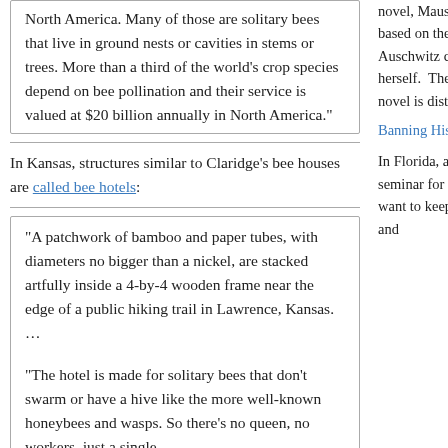North America. Many of those are solitary bees that live in ground nests or cavities in stems or trees. More than a third of the world’s crop species depend on bee pollination and their service is valued at $20 billion annually in North America.”
In Kansas, structures similar to Claridge’s bee houses are called bee hotels:
“A patchwork of bamboo and paper tubes, with diameters no bigger than a nickel, are stacked artfully inside a 4-by-4 wooden frame near the edge of a public hiking trail in Lawrence, Kansas. …
“The hotel is made for solitary bees that don’t swarm or have a hive like the more well-known honeybees and wasps. So there’s no queen, no workers–just a single
novel, Maus. That novel teaches about the Holocaust. It is based on the experience of the author’s parents. They survived Auschwitz concentration camp. His mother later killed herself.  The McMinn County Board of Education thinks the novel is disturbing and too adult for high […]
Banning History is Racist: Stand Up, Fight Back!
In Florida, a school district canceled a civil rights history seminar for teachers. Not only do the rancid rightwing racists want to keep students from learning about slavery, civil rights, and